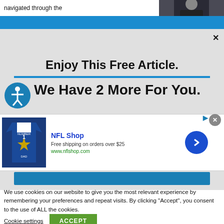navigated through the
[Figure (photo): Person in dark jacket, partially visible at top right]
[Figure (screenshot): Blue navigation bar]
Enjoy This Free Article.
[Figure (infographic): Accessibility icon (blue circle with person symbol) next to large bold text]
We Have 2 More For You.
[Figure (screenshot): NFL Shop advertisement banner with Cowboys jersey, free shipping offer, and blue arrow button. Close (x) button visible.]
NFL Shop
Free shipping on orders over $25
www.nflshop.com
We use cookies on our website to give you the most relevant experience by remembering your preferences and repeat visits. By clicking “Accept”, you consent to the use of ALL the cookies.
Cookie settings
ACCEPT